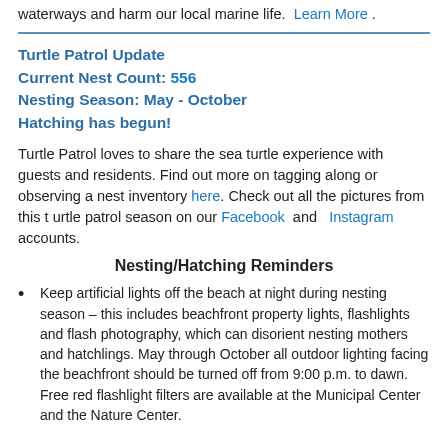waterways and harm our local marine life. Learn More .
Turtle Patrol Update
Current Nest Count: 556
Nesting Season: May - October
Hatching has begun!
Turtle Patrol loves to share the sea turtle experience with guests and residents. Find out more on tagging along or observing a nest inventory here. Check out all the pictures from this t urtle patrol season on our Facebook and Instagram accounts.
Nesting/Hatching Reminders
Keep artificial lights off the beach at night during nesting season – this includes beachfront property lights, flashlights and flash photography, which can disorient nesting mothers and hatchlings. May through October all outdoor lighting facing the beachfront should be turned off from 9:00 p.m. to dawn. Free red flashlight filters are available at the Municipal Center and the Nature Center.